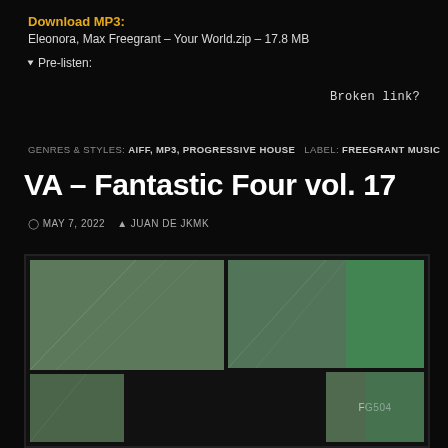Download MP3:
Eleonora, Max Freegrant – Your World.zip – 17.8 MB
▾ Pre-listen:
Broken link?
GENRES & STYLES: AIFF, MP3, PROGRESSIVE HOUSE   LABEL: FREEGRANT MUSIC
VA – Fantastic Four vol. 17
MAY 7, 2022   JUAN DE JKMK
[Figure (illustration): Album art for VA – Fantastic Four vol. 17 on Freegrant Music. A mosaic of four green/grey textured panels arranged in an L-shape grid on a dark background, with 'FG504' label visible in the bottom-right panel.]